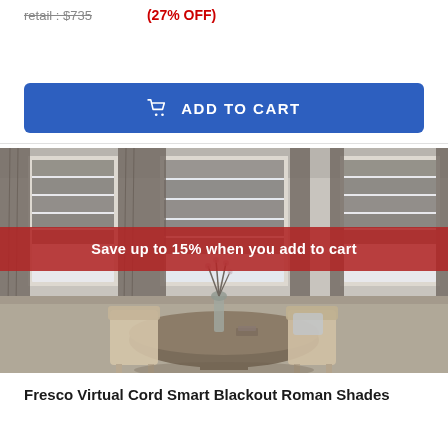retail : $735
(27% OFF)
ADD TO CART
[Figure (photo): Interior room scene showing Roman shades on windows with patterned curtains, dining table and chairs, with a red banner overlay reading 'Save up to 15% when you add to cart']
Save up to 15% when you add to cart
Fresco Virtual Cord Smart Blackout Roman Shades